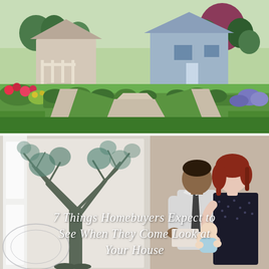[Figure (photo): Aerial/street-level view of neat suburban homes with well-manicured lawns, hedges, colorful flowers, and a curved walkway on a sunny day.]
[Figure (photo): A couple (man in dress shirt and dark tie, woman with red hair holding a baby) looking at a document or phone, standing inside a home. Left side shows an artistic panel with a tree silhouette. Text overlay reads: '7 Things Homebuyers Expect to See When They Come Look at Your House'.]
7 Things Homebuyers Expect to See When They Come Look at Your House